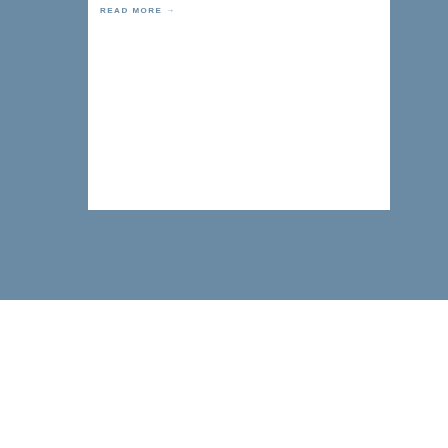READ MORE →
[Figure (logo): Ideal Caregivers 4u logo: blue square with white plus sign, text 'Ideal Caregivers 4u']
+ (decorative divider with lines)